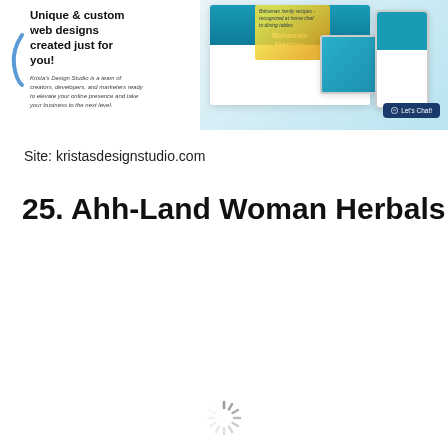[Figure (screenshot): Screenshot of Krista's Design Studio website showing headline 'Unique & custom web designs created just for you!' with a tagline about a team of creators, developers, and marketers. Right side shows website mockups on monitor, tablet, and mobile devices with a teal/ocean themed site called 'Bahamas Marinas' visible and food photography overlay. A dark blue 'Let's Chat!' button appears at bottom right.]
Site: kristasdesignstudio.com
25. Ahh-Land Woman Herbals LLC
[Figure (other): Loading spinner indicator]